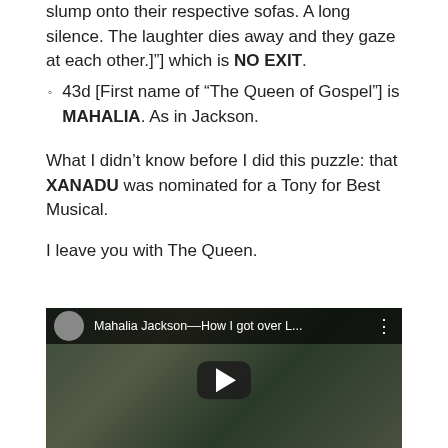slump onto their respective sofas. A long silence. The laughter dies away and they gaze at each other.]"] which is NO EXIT.
43d [First name of “The Queen of Gospel”] is MAHALIA. As in Jackson.
What I didn’t know before I did this puzzle: that XANADU was nominated for a Tony for Best Musical.
I leave you with The Queen.
[Figure (screenshot): YouTube video embed showing Mahalia Jackson–How I got over L... with a play button overlay on a dark vintage video background]